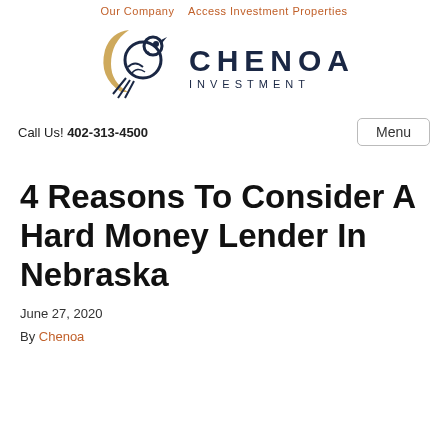Our Company   Access Investment Properties
[Figure (logo): Chenoa Investment logo — stylized bird/moon in dark navy and gold, with text CHENOA INVESTMENT]
Call Us! 402-313-4500
Menu
4 Reasons To Consider A Hard Money Lender In Nebraska
June 27, 2020
By Chenoa